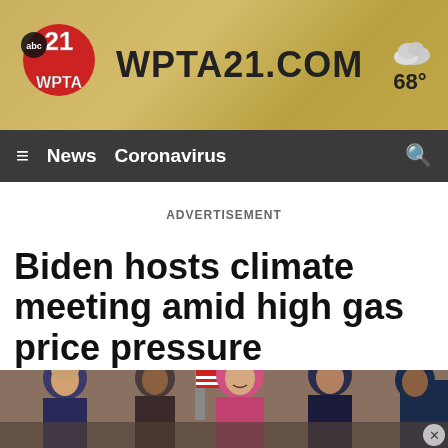[Figure (logo): ABC 21 WPTA television station logo with red circle containing '21' and 'abc' text, alongside WPTA21.COM site name and weather showing cloud icon and 68 degrees]
≡  News  Coronavirus  🔍
ADVERTISEMENT
Biden hosts climate meeting amid high gas price pressure
[Figure (photo): Group of people including a woman in navy suit, woman in pink jacket smiling, and men in suits, appears to be at a formal event; partially cropped showing figures from waist up with American flags in background]